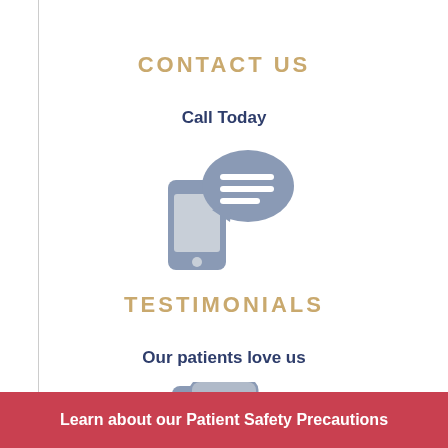CONTACT US
Call Today
[Figure (illustration): Gray icon of a smartphone with a speech bubble containing horizontal lines, representing messaging or contact]
TESTIMONIALS
Our patients love us
[Figure (illustration): Gray icon of stacked tablet/document pages]
Learn about our Patient Safety Precautions